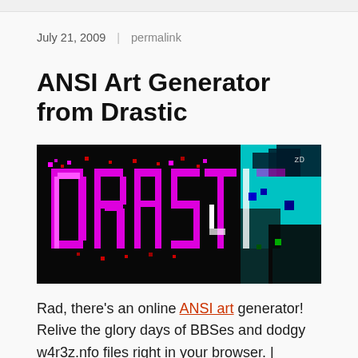July 21, 2009  |  permalink
ANSI Art Generator from Drastic
[Figure (screenshot): Screenshot of ANSI art showing the word 'DRASTIC' rendered in colorful pixel/block art style with magenta/pink letters and cyan elements on a black background]
Rad, there’s an online ANSI art generator! Relive the glory days of BBSes and dodgy w4r3z.nfo files right in your browser. |